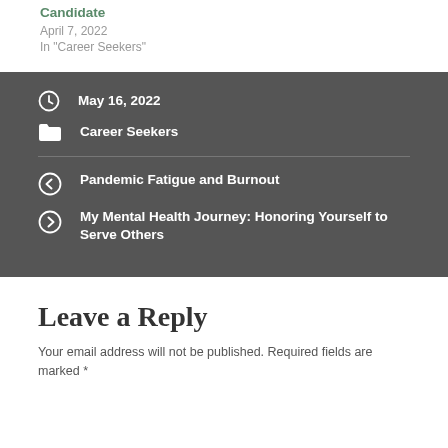Candidate
April 7, 2022
In "Career Seekers"
May 16, 2022
Career Seekers
Pandemic Fatigue and Burnout
My Mental Health Journey: Honoring Yourself to Serve Others
Leave a Reply
Your email address will not be published. Required fields are marked *